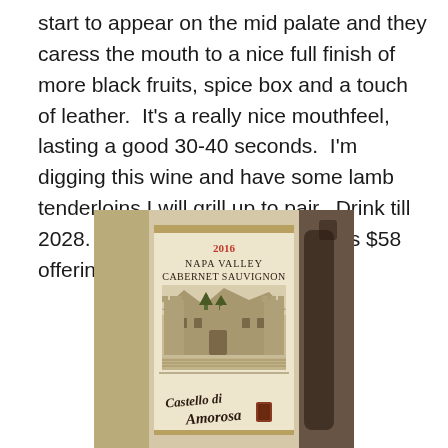start to appear on the mid palate and they caress the mouth to a nice full finish of more black fruits, spice box and a touch of leather.  It's a really nice mouthfeel, lasting a good 30-40 seconds.  I'm digging this wine and have some lamb tenderloins I will grill up to pair.  Drink till 2028. 91 points and 4 stars for this $58 offering.  Salut….
[Figure (photo): Photo of a wine bottle label: 2016 Napa Valley Cabernet Sauvignon, Castello di Amorosa, with an engraved illustration of a castle on the label.]